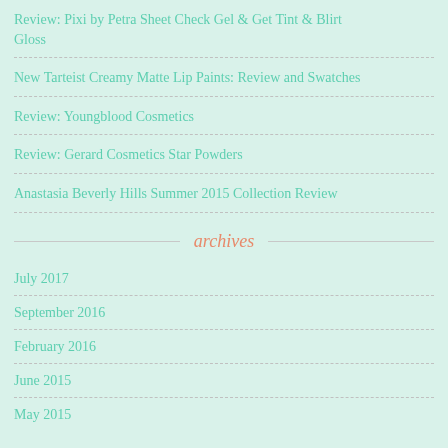Review: Pixi by Petra Sheet Check Gel & Get Tint & Blirt Gloss
New Tarteist Creamy Matte Lip Paints: Review and Swatches
Review: Youngblood Cosmetics
Review: Gerard Cosmetics Star Powders
Anastasia Beverly Hills Summer 2015 Collection Review
archives
July 2017
September 2016
February 2016
June 2015
May 2015